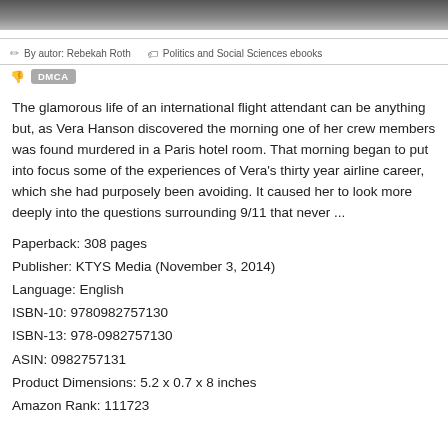[Figure (photo): Partial cropped photo at top of page, dark blurred image of a person]
By autor: Rebekah Roth   Politics and Social Sciences ebooks
DMCA
The glamorous life of an international flight attendant can be anything but, as Vera Hanson discovered the morning one of her crew members was found murdered in a Paris hotel room. That morning began to put into focus some of the experiences of Vera's thirty year airline career, which she had purposely been avoiding. It caused her to look more deeply into the questions surrounding 9/11 that never ...
Paperback: 308 pages
Publisher: KTYS Media (November 3, 2014)
Language: English
ISBN-10: 9780982757130
ISBN-13: 978-0982757130
ASIN: 0982757131
Product Dimensions: 5.2 x 0.7 x 8 inches
Amazon Rank: 111723